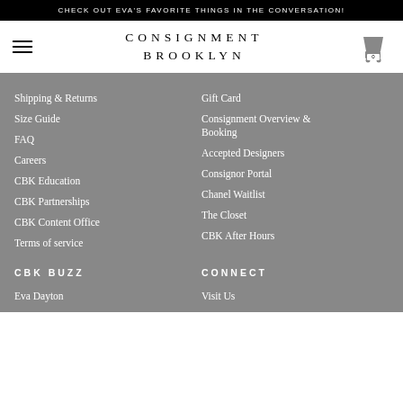CHECK OUT EVA'S FAVORITE THINGS IN THE CONVERSATION!
CONSIGNMENT BROOKLYN
Shipping & Returns
Size Guide
FAQ
Careers
CBK Education
CBK Partnerships
CBK Content Office
Terms of service
Gift Card
Consignment Overview & Booking
Accepted Designers
Consignor Portal
Chanel Waitlist
The Closet
CBK After Hours
CBK BUZZ
CONNECT
Eva Dayton
Visit Us